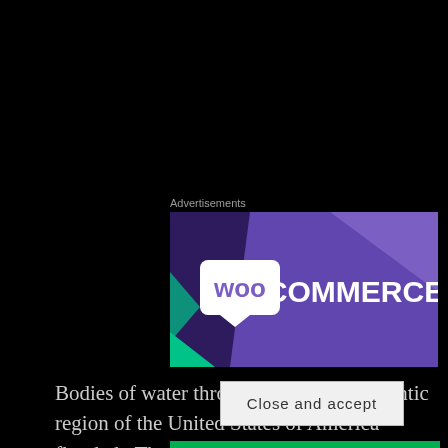Advertisements
[Figure (logo): WooCommerce advertisement banner with purple background and WooCommerce logo]
Bodies of water throughout the mid-Atlantic region of the United States of America flooded.  The good news for the people of the Stewartstown Railroad is that they
Privacy & Cookies: This site uses cookies. By continuing to use this website, you agree to their use.
To find out more, including how to control cookies, see here: Cookie Policy
Close and accept